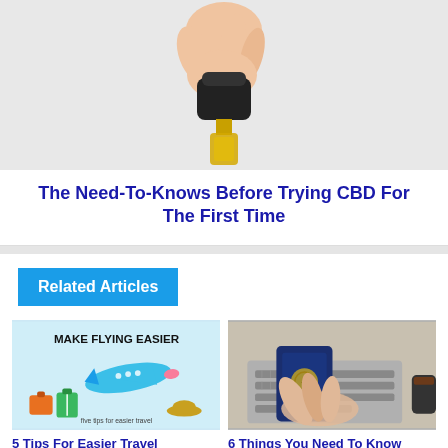[Figure (photo): A hand holding a black dropper cap above a small amber/yellow glass bottle on a light gray background, suggesting CBD oil.]
The Need-To-Knows Before Trying CBD For The First Time
Related Articles
[Figure (infographic): Illustration with text 'MAKE FLYING EASIER' and a colorful cartoon airplane, luggage items, and text 'five tips for easier travel']
5 Tips For Easier Travel
[Figure (photo): Overhead view of a person's hands holding a blue US passport in front of a laptop keyboard, with a coffee cup visible on the right side.]
6 Things You Need To Know